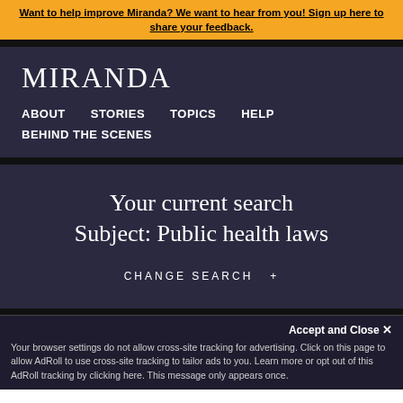Want to help improve Miranda? We want to hear from you! Sign up here to share your feedback.
MIRANDA
ABOUT   STORIES   TOPICS   HELP
BEHIND THE SCENES
Your current search
Subject: Public health laws
CHANGE SEARCH +
Accept and Close ×
Your browser settings do not allow cross-site tracking for advertising. Click on this page to allow AdRoll to use cross-site tracking to tailor ads to you. Learn more or opt out of this AdRoll tracking by clicking here. This message only appears once.